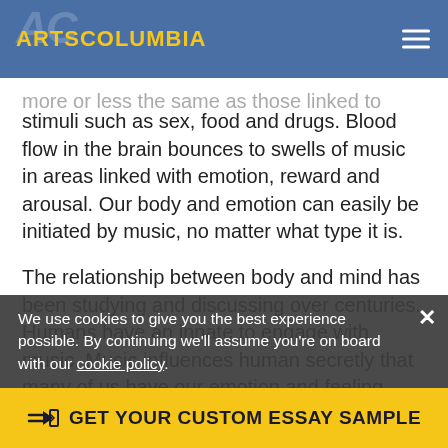ARTSCOLUMBIA
more or less the same as those linked to other blissful stimuli such as sex, food and drugs. Blood flow in the brain bounces to swells of music in areas linked with emotion, reward and arousal. Our body and emotion can easily be initiated by music, no matter what type it is.
The relationship between body and mind has been studying and discussing over centuries. Humans have an innate to engage with music. Music influences human secretly that many of us have our emotion and feeling changed before noticing that it is due to the surrounding rhythms. When hearing strong beats, we feel like our heart is fiercely beating with them as if something invisible is hitting at our skin is likely to bob like a float in the sea as if thousands of tiny droplets
We use cookies to give you the best experience possible. By continuing we'll assume you're on board with our cookie policy
GET YOUR CUSTOM ESSAY SAMPLE